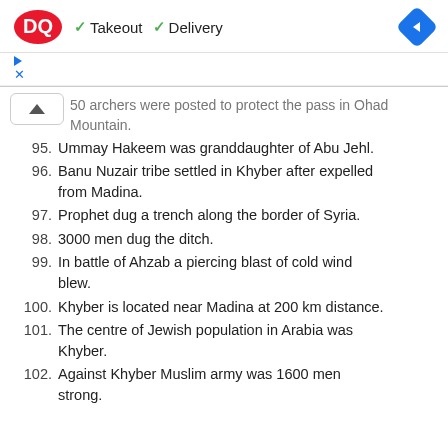DQ ✓ Takeout ✓ Delivery
50 archers were posted to protect the pass in Ohad Mountain.
95. Ummay Hakeem was granddaughter of Abu Jehl.
96. Banu Nuzair tribe settled in Khyber after expelled from Madina.
97. Prophet dug a trench along the border of Syria.
98. 3000 men dug the ditch.
99. In battle of Ahzab a piercing blast of cold wind blew.
100. Khyber is located near Madina at 200 km distance.
101. The centre of Jewish population in Arabia was Khyber.
102. Against Khyber Muslim army was 1600 men strong.